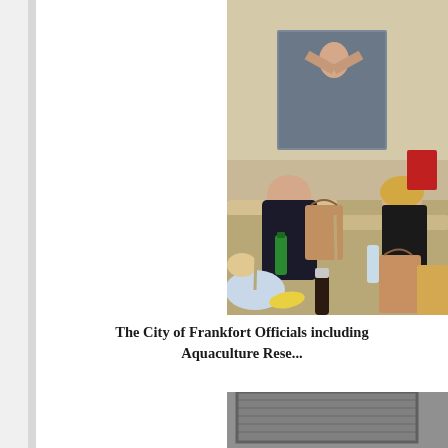[Figure (photo): People seated at tables in a cafeteria or meeting room, eating lunches from brown paper bags. Multiple people visible including a bald man in dark jacket and a woman in a black puffer vest. Drinks including green bottle and cola visible on tables. A large photograph on the wall behind them showing a person with arms raised.]
The City of Frankfort Officials including Aquaculture Rese...
[Figure (photo): Partial view of a building exterior, bottom portion of page, with metal roll-up door visible.]